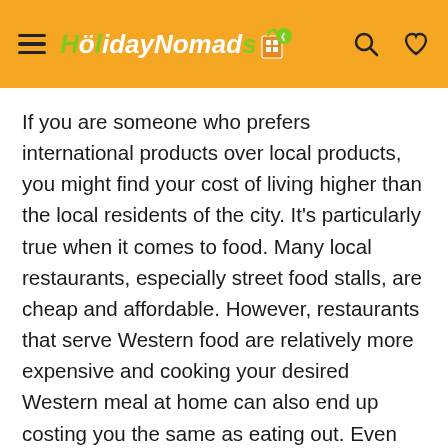HolidayNomads
If you are someone who prefers international products over local products, you might find your cost of living higher than the local residents of the city. It's particularly true when it comes to food. Many local restaurants, especially street food stalls, are cheap and affordable. However, restaurants that serve Western food are relatively more expensive and cooking your desired Western meal at home can also end up costing you the same as eating out. Even then, Taipei is still largely affordable for expats.
Similarly, locally produced goods in general are cheaper in Taiwan than in Europe or USA. You will find